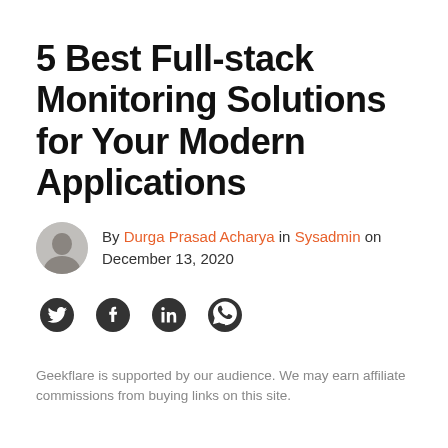5 Best Full-stack Monitoring Solutions for Your Modern Applications
By Durga Prasad Acharya in Sysadmin on December 13, 2020
[Figure (illustration): Social share icons: Twitter, Facebook, LinkedIn, WhatsApp]
Geekflare is supported by our audience. We may earn affiliate commissions from buying links on this site.